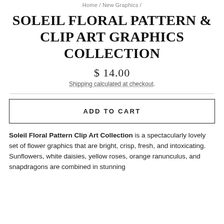Home / New Graphics /
SOLEIL FLORAL PATTERN & CLIP ART GRAPHICS COLLECTION
$ 14.00
Shipping calculated at checkout.
ADD TO CART
Soleil Floral Pattern Clip Art Collection is a spectacularly lovely set of flower graphics that are bright, crisp, fresh, and intoxicating. Sunflowers, white daisies, yellow roses, orange ranunculus, and snapdragons are combined in stunning